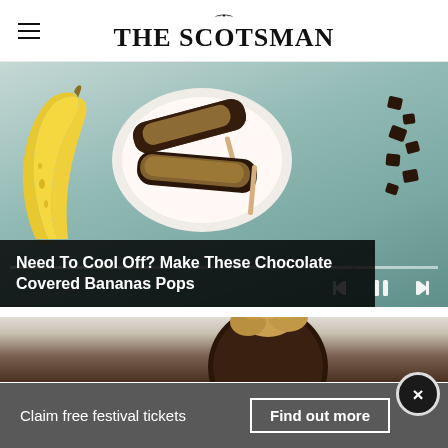THE SCOTSMAN
[Figure (photo): Top-down view of chocolate covered banana pops on a white plate beside a whole banana, chocolate chunks scattered, with media playback controls and progress bar overlay]
Need To Cool Off? Make These Chocolate Covered Bananas Pops
[Figure (photo): Close-up of a chocolate and nut covered food item on a light background]
Claim free festival tickets
Find out more